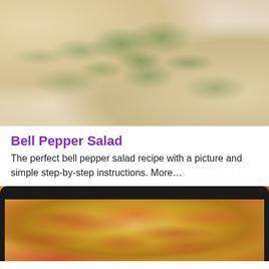[Figure (photo): Close-up photo of bell pepper salad with colorful chopped peppers, chickpeas, feta cheese cubes, and fresh herbs in a creamy dressing]
Bell Pepper Salad
The perfect bell pepper salad recipe with a picture and simple step-by-step instructions. More…
[Figure (photo): Close-up photo of a cheesy casserole or gratin dish in a dark skillet pan with melted golden-brown cheese on top, partially visible]